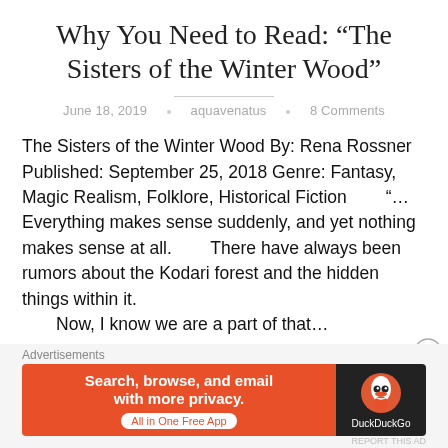Why You Need to Read: “The Sisters of the Winter Wood”
June 18, 2019 · aquavenatus · 8 Comments
The Sisters of the Winter Wood By: Rena Rossner Published: September 25, 2018 Genre: Fantasy, Magic Realism, Folklore, Historical Fiction “…Everything makes sense suddenly, and yet nothing makes sense at all. There have always been rumors about the Kodari forest and the hidden things within it. Now, I know we are a part of that…
Continue reading
Advertisements
[Figure (screenshot): DuckDuckGo advertisement banner: orange background on left with text 'Search, browse, and email with more privacy. All in One Free App', dark background on right with DuckDuckGo duck logo and DuckDuckGo text.]